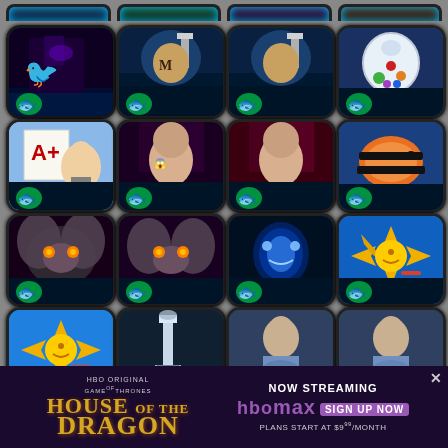[Figure (screenshot): Grid of mobile game app icons with fish/aquatic blue glow theme, arranged in rows. Each icon shows different game art: dark house with crow, lighthouse scenes, candy jar, grade school, gothic woman, creatures, glowing alien figure, star fish character, icy lighthouse, woman with key, etc. Bottom row partially visible. An HBO Max advertisement banner overlays the bottom portion promoting House of the Dragon streaming.]
[Figure (infographic): HBO Max ad banner: House of the Dragon NOW STREAMING on HBO Max, plans start at $9.99/month]